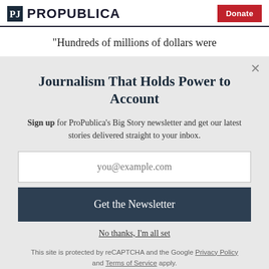ProPublica | Donate
"Hundreds of millions of dollars were
Journalism That Holds Power to Account
Sign up for ProPublica's Big Story newsletter and get our latest stories delivered straight to your inbox.
you@example.com
Get the Newsletter
No thanks, I'm all set
This site is protected by reCAPTCHA and the Google Privacy Policy and Terms of Service apply.